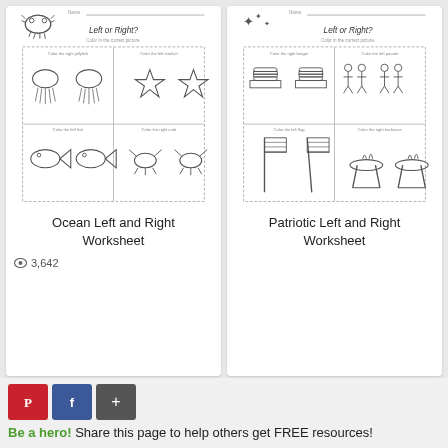[Figure (illustration): Thumbnail of Ocean Left and Right Worksheet showing jellyfish, starfish, fish, crab coloring worksheet]
Ocean Left and Right Worksheet
3,642 views
[Figure (illustration): Thumbnail of Patriotic Left and Right Worksheet showing burger, parade, flag, barbecue coloring worksheet]
Patriotic Left and Right Worksheet
[Figure (illustration): Partial thumbnail of a worksheet with flower illustration]
[Figure (illustration): Partial thumbnail of a worksheet with snowman illustration]
Be a hero! Share this page to help others get FREE resources!